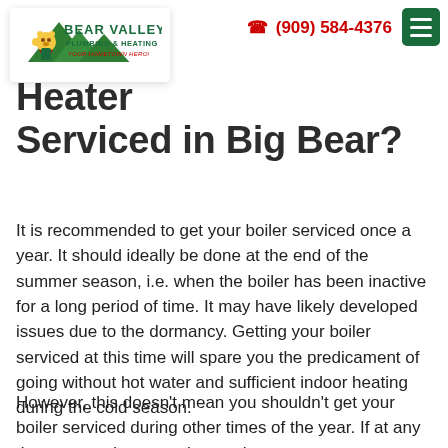Bear Valley Plumbing & Heating | (909) 584-4376
[Figure (logo): Bear Valley Plumbing & Heating logo with superhero bear mascot]
Get Your Heater Serviced in Big Bear?
It is recommended to get your boiler serviced once a year. It should ideally be done at the end of the summer season, i.e. when the boiler has been inactive for a long period of time. It may have likely developed issues due to the dormancy. Getting your boiler serviced at this time will spare you the predicament of going without hot water and sufficient indoor heating during the cold season.
However, this doesn't mean you shouldn't get your boiler serviced during other times of the year. If at any time, you notice corrosion on the